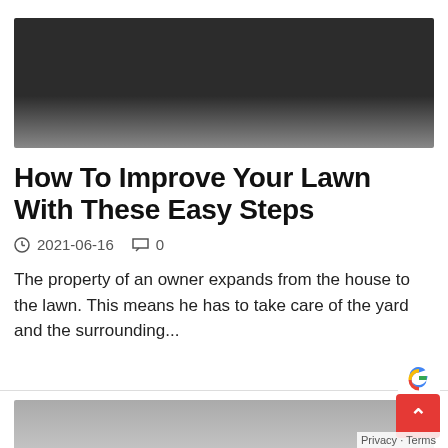[Figure (photo): Dark/black hero image at the top of the article, partially visible, fading to gray at the bottom]
How To Improve Your Lawn With These Easy Steps
⊙ 2021-06-16   ○ 0
The property of an owner expands from the house to the lawn. This means he has to take care of the yard and the surrounding...
[Figure (photo): Partial gray/silver image visible at the bottom of the page]